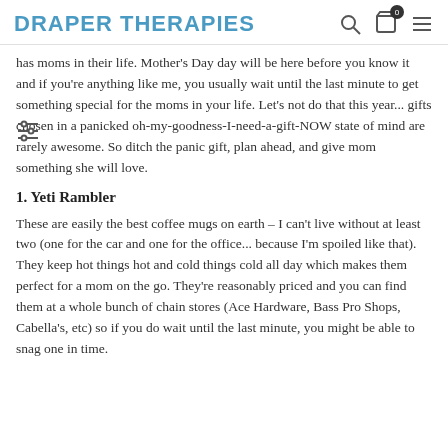DRAPER THERAPIES
has moms in their life. Mother's Day day will be here before you know it and if you're anything like me, you usually wait until the last minute to get something special for the moms in your life. Let's not do that this year... gifts chosen in a panicked oh-my-goodness-I-need-a-gift-NOW state of mind are rarely awesome. So ditch the panic gift, plan ahead, and give mom something she will love.
1. Yeti Rambler
These are easily the best coffee mugs on earth – I can't live without at least two (one for the car and one for the office... because I'm spoiled like that). They keep hot things hot and cold things cold all day which makes them perfect for a mom on the go. They're reasonably priced and you can find them at a whole bunch of chain stores (Ace Hardware, Bass Pro Shops, Cabella's, etc) so if you do wait until the last minute, you might be able to snag one in time.